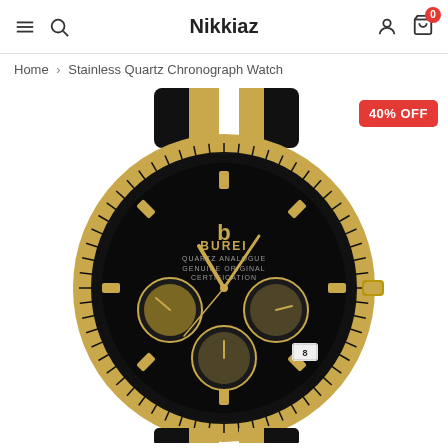Nikkiaz
Home > Stainless Quartz Chronograph Watch
[Figure (photo): BUREI black and gold stainless steel quartz chronograph watch with fluted bezel, three sub-dials, date window, and two-tone bracelet]
40% OFF